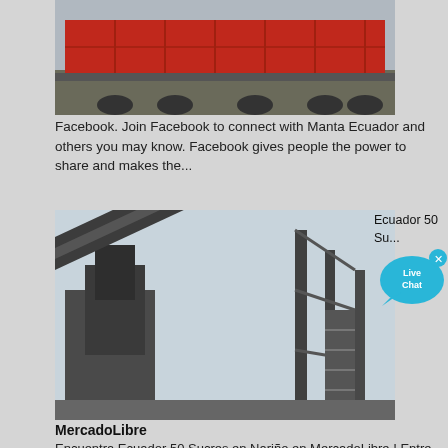[Figure (photo): Red shipping containers on a flatbed truck, viewed from the side]
Facebook. Join Facebook to connect with Manta Ecuador and others you may know. Facebook gives people the power to share and makes the...
[Figure (photo): Industrial mining or port machinery — large dark metal conveyor and gantry structures against a light sky]
[Figure (infographic): Live Chat bubble overlay with blue speech bubble showing 'Live Chat' text and an X close button]
Ecuador 50 Su...
MercadoLibre
Encuentra Ecuador 50 Sucres en Nariño en MercadoLibre ! Entre y conozca nuestras increíbles ofertas y promociones. Descubre la mejor forma de comprar online. Bienvenido Ingresa a tu cuenta para ver tus compras, favoritos, etc.